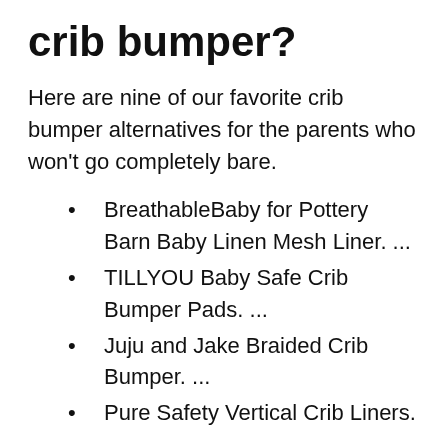crib bumper?
Here are nine of our favorite crib bumper alternatives for the parents who won't go completely bare.
BreathableBaby for Pottery Barn Baby Linen Mesh Liner. ...
TILLYOU Baby Safe Crib Bumper Pads. ...
Juju and Jake Braided Crib Bumper. ...
Pure Safety Vertical Crib Liners. ...
BreathableBaby Classic Breathable Mesh Crib Liner.
How do I get over my fear of sleeping with my newborn?